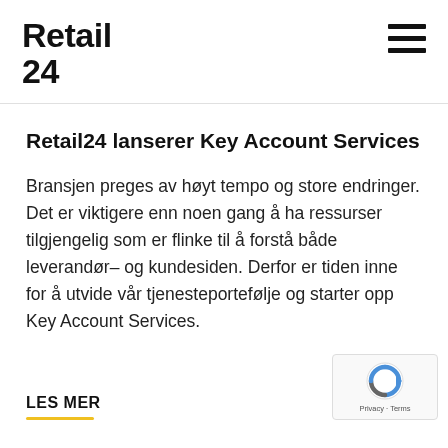Retail24
Retail24 lanserer Key Account Services
Bransjen preges av høyt tempo og store endringer. Det er viktigere enn noen gang å ha ressurser tilgjengelig som er flinke til å forstå både leverandør– og kundesiden. Derfor er tiden inne for å utvide vår tjenesteportefølje og starter opp Key Account Services.
LES MER